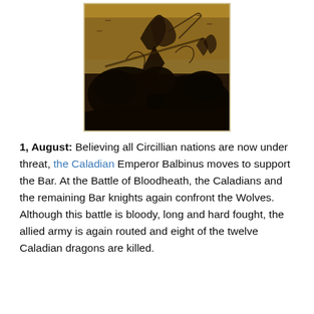[Figure (illustration): A dark, dramatic battle illustration rendered in sepia/brown tones showing armored warriors fighting chaotically, with figures wielding spears and swords, birds in the background sky.]
1, August: Believing all Circillian nations are now under threat, the Caladian Emperor Balbinus moves to support the Bar. At the Battle of Bloodheath, the Caladians and the remaining Bar knights again confront the Wolves. Although this battle is bloody, long and hard fought, the allied army is again routed and eight of the twelve Caladian dragons are killed.